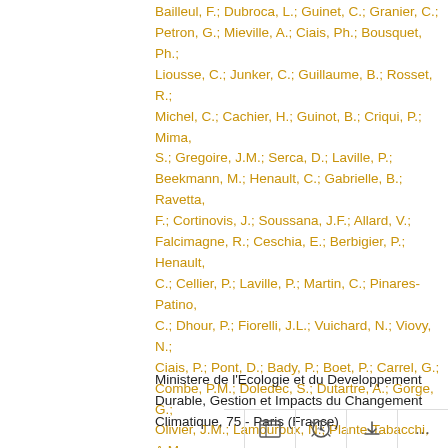Bailleul, F.; Dubroca, L.; Guinet, C.; Granier, C.; Petron, G.; Mieville, A.; Ciais, Ph.; Bousquet, Ph.; Liousse, C.; Junker, C.; Guillaume, B.; Rosset, R.; Michel, C.; Cachier, H.; Guinot, B.; Criqui, P.; Mima, S.; Gregoire, J.M.; Serca, D.; Laville, P.; Beekmann, M.; Henault, C.; Gabrielle, B.; Ravetta, F.; Cortinovis, J.; Soussana, J.F.; Allard, V.; Falcimagne, R.; Ceschia, E.; Berbigier, P.; Henault, C.; Cellier, P.; Laville, P.; Martin, C.; Pinares-Patino, C.; Dhour, P.; Fiorelli, J.L.; Vuichard, N.; Viovy, N.; Ciais, P.; Pont, D.; Bady, P.; Boet, P.; Carrel, G.; Combe, P.M.; Doledec, S.; Dutartre, A.; Gorge, G.; Olivier, J.M.; Lamouroux, N.; Plante-Tabacchi, A.M.; Poirel, A.; Rogers, C.; Tabacchi, E.
Ministere de l'Ecologie et du Developpement Durable, Gestion et Impacts du Changement Climatique, 75 - Paris (France)
2006